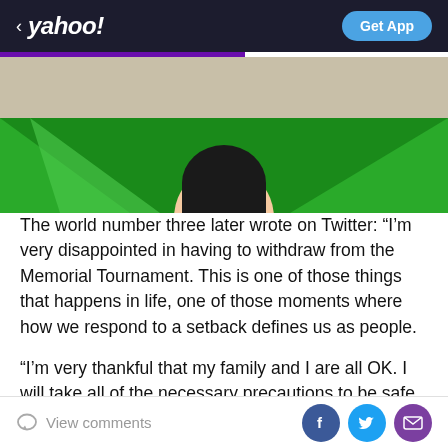< yahoo!   Get App
[Figure (photo): Photo of a person with black hair against a green background with geometric triangle shapes. Partial view showing top of head/hair cropped at bottom. Tan/beige background area above.]
The world number three later wrote on Twitter: “I’m very disappointed in having to withdraw from the Memorial Tournament. This is one of those things that happens in life, one of those moments where how we respond to a setback defines us as people.
“I’m very thankful that my family and I are all OK. I will take all of the necessary precautions to be safe and healthy and I look forward to returning to the golf course
View comments